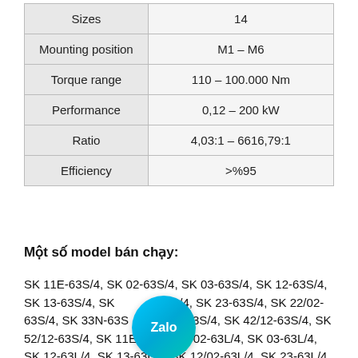| Property | Value |
| --- | --- |
| Sizes | 14 |
| Mounting position | M1 – M6 |
| Torque range | 110 – 100.000 Nm |
| Performance | 0,12 – 200 kW |
| Ratio | 4,03:1 – 6616,79:1 |
| Efficiency | >%95 |
Một số model bán chạy:
SK 11E-63S/4, SK 02-63S/4, SK 03-63S/4, SK 12-63S/4, SK 13-63S/4, SK 33N-63S/4, SK 23-63S/4, SK 22/02-63S/4, SK 33N-63S/4, SK 43/12-63S/4, SK 42/12-63S/4, SK 52/12-63S/4, SK 11E-63L/4, SK 02-63L/4, SK 03-63L/4, SK 12-63L/4, SK 13-63L/4, SK 12/02-63L/4, SK 23-63L/4, SK